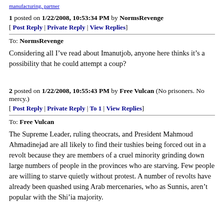manufacturing, partner
1 posted on 1/22/2008, 10:53:34 PM by NormsRevenge
[ Post Reply | Private Reply | View Replies]
To: NormsRevenge
Considering all I’ve read about Imanutjob, anyone here thinks it’s a possibility that he could attempt a coup?
2 posted on 1/22/2008, 10:55:43 PM by Free Vulcan (No prisoners. No mercy.)
[ Post Reply | Private Reply | To 1 | View Replies]
To: Free Vulcan
The Supreme Leader, ruling theocrats, and President Mahmoud Ahmadinejad are all likely to find their tushies being forced out in a revolt because they are members of a cruel minority grinding down large numbers of people in the provinces who are starving. Few people are willing to starve quietly without protest. A number of revolts have already been quashed using Arab mercenaries, who as Sunnis, aren’t popular with the Shi’ia majority.